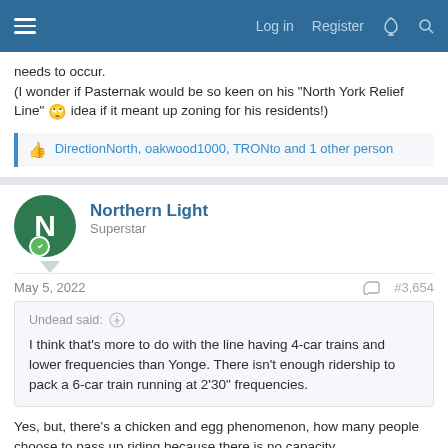Navigation bar with hamburger menu, Log in, Register, and search icons
needs to occur.
(I wonder if Pasternak would be so keen on his "North York Relief Line" 🙄 idea if it meant up zoning for his residents!)
DirectionNorth, oakwood1000, TRONto and 1 other person
Northern Light
Superstar
May 5, 2022	#3,654
Undead said: ↑
I think that's more to do with the line having 4-car trains and lower frequencies than Yonge. There isn't enough ridership to pack a 6-car train running at 2'30" frequencies.
Yes, but, there's a chicken and egg phenomenon, how many people choose to pass up riding because there is no capacity